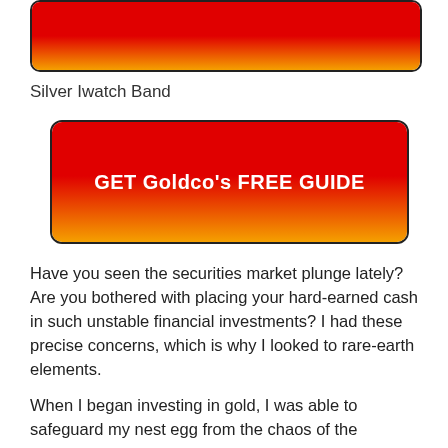[Figure (other): Red-to-orange gradient banner image with rounded border]
Silver Iwatch Band
[Figure (other): Call-to-action button with red-to-orange gradient and text: GET Goldco's FREE GUIDE]
Have you seen the securities market plunge lately? Are you bothered with placing your hard-earned cash in such unstable financial investments? I had these precise concerns, which is why I looked to rare-earth elements.
When I began investing in gold, I was able to safeguard my nest egg from the chaos of the